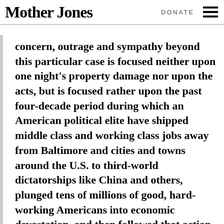Mother Jones | DONATE
concern, outrage and sympathy beyond this particular case is focused neither upon one night's property damage nor upon the acts, but is focused rather upon the past four-decade period during which an American political elite have shipped middle class and working class jobs away from Baltimore and cities and towns around the U.S. to third-world dictatorships like China and others, plunged tens of millions of good, hard-working Americans into economic devastation, and then followed that action around the nation by diminishing every American's civil rights protections in order